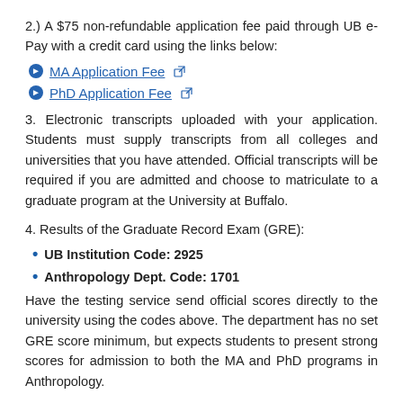2.) A $75 non-refundable application fee paid through UB e-Pay with a credit card using the links below:
MA Application Fee
PhD Application Fee
3. Electronic transcripts uploaded with your application. Students must supply transcripts from all colleges and universities that you have attended. Official transcripts will be required if you are admitted and choose to matriculate to a graduate program at the University at Buffalo.
4. Results of the Graduate Record Exam (GRE):
UB Institution Code: 2925
Anthropology Dept. Code: 1701
Have the testing service send official scores directly to the university using the codes above. The department has no set GRE score minimum, but expects students to present strong scores for admission to both the MA and PhD programs in Anthropology.